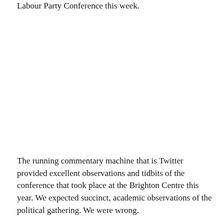Labour Party Conference this week.
The running commentary machine that is Twitter provided excellent observations and tidbits of the conference that took place at the Brighton Centre this year. We expected succinct, academic observations of the political gathering. We were wrong.